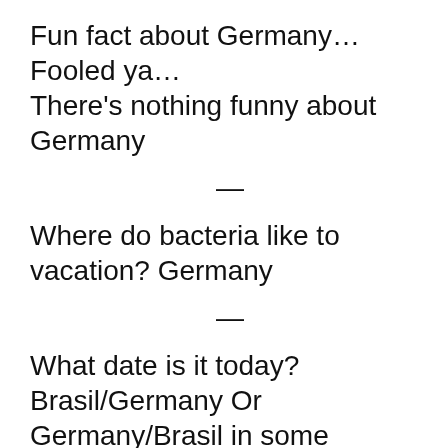Fun fact about Germany… Fooled ya… There's nothing funny about Germany
—
Where do bacteria like to vacation? Germany
—
What date is it today? Brasil/Germany Or Germany/Brasil in some countries.
—
I don't know why they run marathons in Germany. They have a history of not...